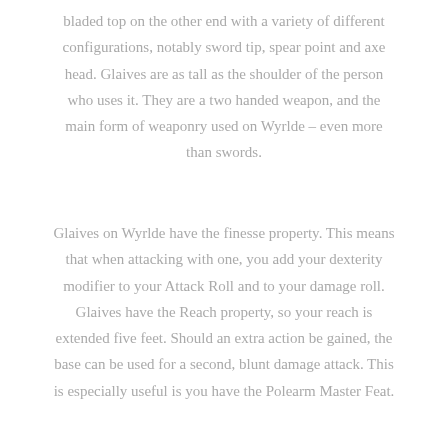bladed top on the other end with a variety of different configurations, notably sword tip, spear point and axe head. Glaives are as tall as the shoulder of the person who uses it. They are a two handed weapon, and the main form of weaponry used on Wyrlde – even more than swords.
Glaives on Wyrlde have the finesse property. This means that when attacking with one, you add your dexterity modifier to your Attack Roll and to your damage roll. Glaives have the Reach property, so your reach is extended five feet. Should an extra action be gained, the base can be used for a second, blunt damage attack. This is especially useful is you have the Polearm Master Feat.